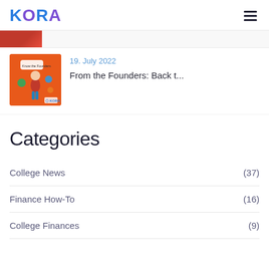KORA
[Figure (screenshot): Partial article thumbnail showing red/dark image at top]
19. July 2022
From the Founders: Back t...
Categories
College News (37)
Finance How-To (16)
College Finances (9)